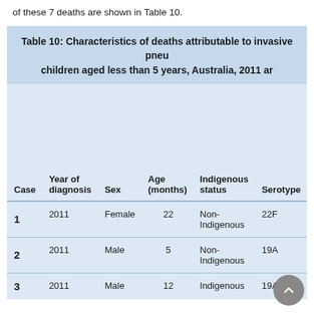of these 7 deaths are shown in Table 10.
| Case | Year of diagnosis | Sex | Age (months) | Indigenous status | Serotype |
| --- | --- | --- | --- | --- | --- |
| 1 | 2011 | Female | 22 | Non-Indigenous | 22F |
| 2 | 2011 | Male | 5 | Non-Indigenous | 19A |
| 3 | 2011 | Male | 12 | Indigenous | 19A |